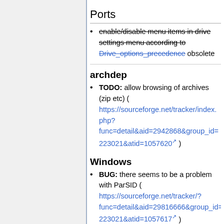Ports
enable/disable menu items in drive settings menu according to Drive_options_precedence obsolete
archdep
TODO: allow browsing of archives (zip etc) ( https://sourceforge.net/tracker/index.php?func=detail&aid=2942868&group_id=223021&atid=1057620 )
Windows
BUG: there seems to be a problem with ParSID ( https://sourceforge.net/tracker/?func=detail&aid=29816666&group_id=223021&atid=1057617 )